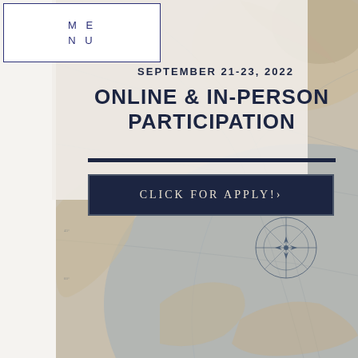[Figure (illustration): Vintage antique world map / polar projection globe in blue-grey and sandy tones, showing continents, ocean lines, and a compass rose in the lower right. The map fills the entire page background.]
ME
NU
SEPTEMBER 21-23, 2022
ONLINE & IN-PERSON PARTICIPATION
CLICK FOR APPLY!›